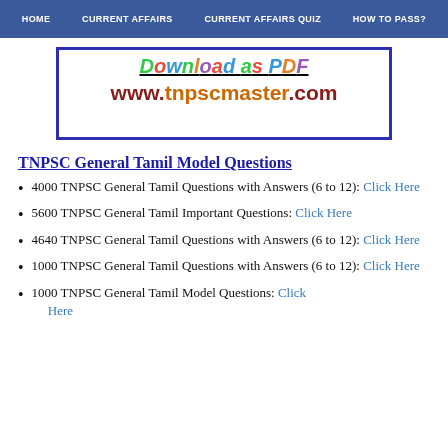HOME   CURRENT AFFAIRS   CURRENT AFFAIRS QUIZ   HOW TO PASS?
[Figure (other): Banner box with text 'Download as PDF' and 'www.tnpscmaster.com']
TNPSC General Tamil Model Questions
4000 TNPSC General Tamil Questions with Answers (6 to 12): Click Here
5600 TNPSC General Tamil Important Questions: Click Here
4640 TNPSC General Tamil Questions with Answers (6 to 12): Click Here
1000 TNPSC General Tamil Questions with Answers (6 to 12): Click Here
1000 TNPSC General Tamil Model Questions: Click Here